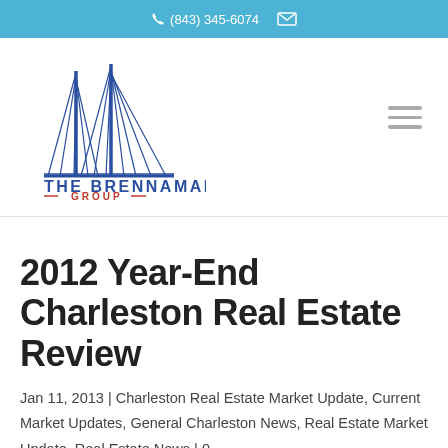(843) 345-6074
[Figure (logo): The Brennaman Group logo — bridge silhouette in blue above text THE BRENNAMAN GROUP with red dashes]
2012 Year-End Charleston Real Estate Review
Jan 11, 2013 | Charleston Real Estate Market Update, Current Market Updates, General Charleston News, Real Estate Market Update, Real Estate News | 0